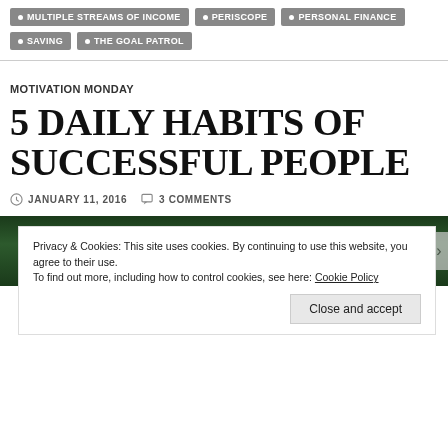MULTIPLE STREAMS OF INCOME
PERISCOPE
PERSONAL FINANCE
SAVING
THE GOAL PATROL
MOTIVATION MONDAY
5 DAILY HABITS OF SUCCESSFUL PEOPLE
JANUARY 11, 2016  3 COMMENTS
Privacy & Cookies: This site uses cookies. By continuing to use this website, you agree to their use. To find out more, including how to control cookies, see here: Cookie Policy
Close and accept